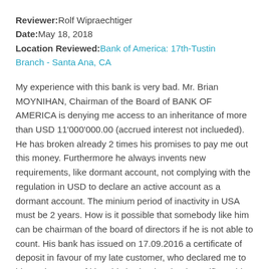Reviewer: Rolf Wipraechtiger
Date: May 18, 2018
Location Reviewed: Bank of America: 17th-Tustin Branch - Santa Ana, CA
My experience with this bank is very bad. Mr. Brian MOYNIHAN, Chairman of the Board of BANK OF AMERICA is denying me access to an inheritance of more than USD 11'000'000.00 (accrued interest not inclueded). He has broken already 2 times his promises to pay me out this money. Furthermore he always invents new requirements, like dormant account, not complying with the regulation in USD to declare an active account as a dormant account. The minium period of inactivity in USA must be 2 years. How is it possible that somebody like him can be chairman of the board of directors if he is not able to count. His bank has issued on 17.09.2016 a certificate of deposit in favour of my late customer, who declared me to him as her next of kin. This is clearly a bank acctifity. Add 2 years to this date and you arrive at 17.09.2018 a date well in the futur. This proofs clearly, that he does not